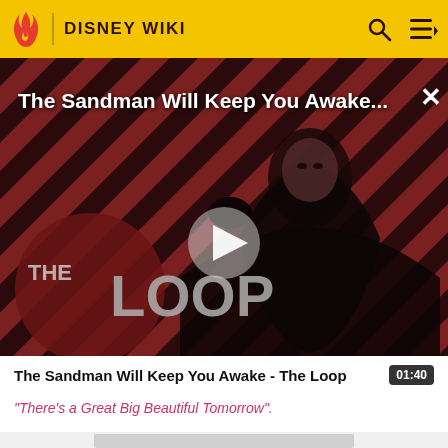DISNEY WIKI
[Figure (screenshot): Video thumbnail showing a figure in black cape on a red and black diagonal striped background with THE LOOP logo overlay and a white play button in the center. Title text reads 'The Sandman Will Keep You Awake...' at the top.]
The Sandman Will Keep You Awake - The Loop
01:40
"There's a Great Big Beautiful Tomorrow".
[Figure (other): Gray advertisement placeholder rectangle at the bottom of the page]